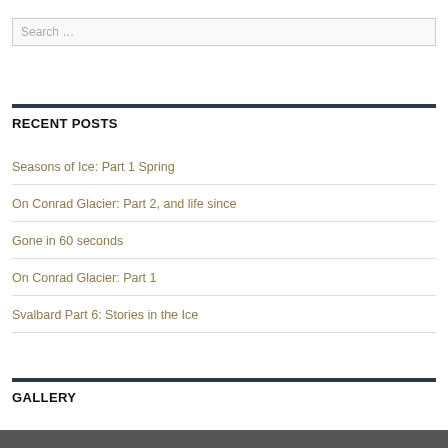Search …
RECENT POSTS
Seasons of Ice: Part 1 Spring
On Conrad Glacier: Part 2, and life since
Gone in 60 seconds
On Conrad Glacier: Part 1
Svalbard Part 6: Stories in the Ice
GALLERY